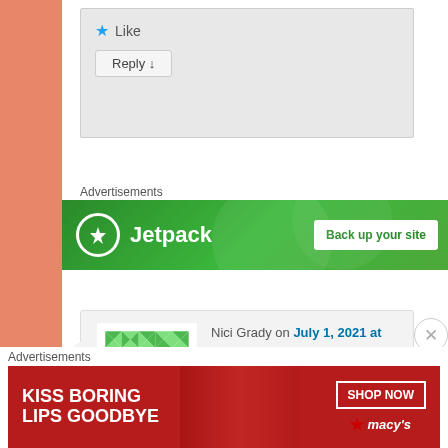[Figure (screenshot): Reply button at bottom of a comment box with 'Reply ↓' text on a light gray background]
Advertisements
[Figure (other): Jetpack advertisement banner with green background showing Jetpack logo and 'Back up your site' button]
[Figure (other): User avatar with green quilt/mosaic pattern for Nici Grady]
Nici Grady on July 1, 2021 at 9:49 am said:
I absolutely love this!!! Such a
Advertisements
[Figure (other): Macy's advertisement banner - KISS BORING LIPS GOODBYE with SHOP NOW button and Macy's star logo]